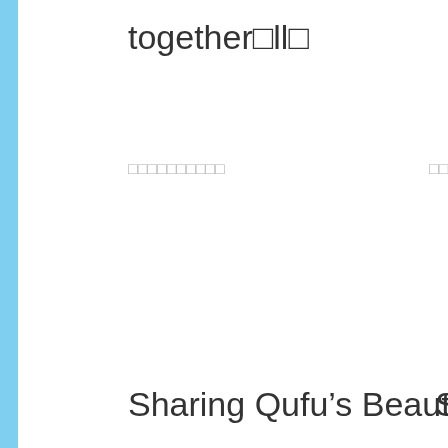together□ll□
□□□□□□□□□□
□□□
Sharing Qufu’s Beauty□lll□
S